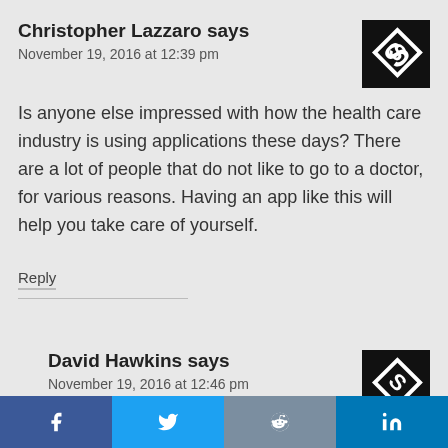Christopher Lazzaro says
November 19, 2016 at 12:39 pm
[Figure (logo): Black square avatar with white stylized S logo]
Is anyone else impressed with how the health care industry is using applications these days? There are a lot of people that do not like to go to a doctor, for various reasons. Having an app like this will help you take care of yourself.
Reply
David Hawkins says
November 19, 2016 at 12:46 pm
[Figure (logo): Black square avatar with white stylized S logo]
I can appreciate this for sure. Having applications like this will do great things, including freeing up waiting rooms, emergency
[Figure (other): Social media share bar with Facebook, Twitter, Reddit, and LinkedIn buttons]